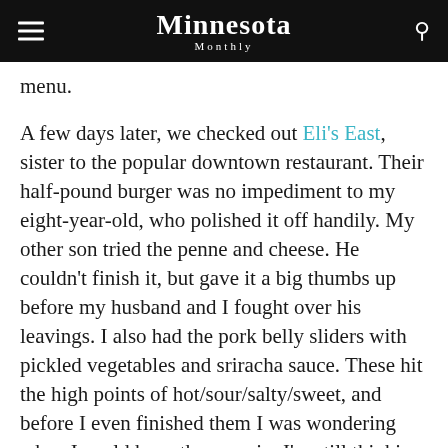Minnesota Monthly
menu.
A few days later, we checked out Eli's East, sister to the popular downtown restaurant. Their half-pound burger was no impediment to my eight-year-old, who polished it off handily. My other son tried the penne and cheese. He couldn't finish it, but gave it a big thumbs up before my husband and I fought over his leavings. I also had the pork belly sliders with pickled vegetables and sriracha sauce. These hit the high points of hot/sour/salty/sweet, and before I even finished them I was wondering when I could have them again. I'm still thinking about them days later. Eli's fries were forgettable, but the other things we tried so impressed us that it won't be long before we visit again.